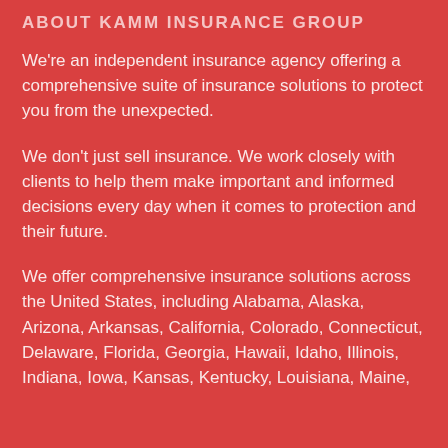ABOUT KAMM INSURANCE GROUP
We're an independent insurance agency offering a comprehensive suite of insurance solutions to protect you from the unexpected.
We don't just sell insurance. We work closely with clients to help them make important and informed decisions every day when it comes to protection and their future.
We offer comprehensive insurance solutions across the United States, including Alabama, Alaska, Arizona, Arkansas, California, Colorado, Connecticut, Delaware, Florida, Georgia, Hawaii, Idaho, Illinois, Indiana, Iowa, Kansas, Kentucky, Louisiana, Maine,